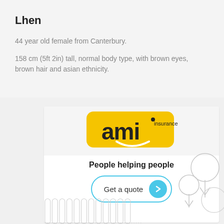Lhen
44 year old female from Canterbury.
158 cm (5ft 2in) tall, normal body type, with brown eyes, brown hair and asian ethnicity.
[Figure (logo): AMI Insurance advertisement with logo, tagline 'People helping people' and a 'Get a quote' button with decorative tree and building graphics]